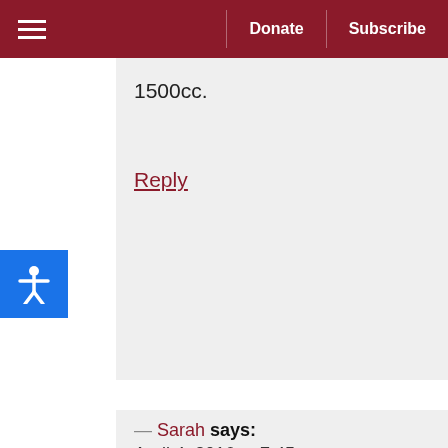Donate | Subscribe
1500cc.
Reply
— Sarah says:
April 4, 2016 at 7:45 pm
I always know when I'm in AFib. Not only can I feel it & it's painful. It makes my chest hurt. Standing & walking make me dizzy. I also spend a lot of